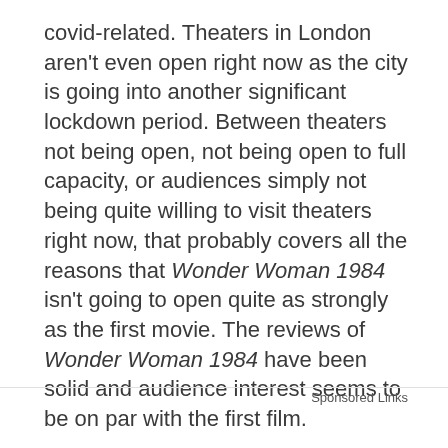covid-related. Theaters in London aren't even open right now as the city is going into another significant lockdown period. Between theaters not being open, not being open to full capacity, or audiences simply not being quite willing to visit theaters right now, that probably covers all the reasons that Wonder Woman 1984 isn't going to open quite as strongly as the first movie. The reviews of Wonder Woman 1984 have been solid and audience interest seems to be on par with the first film.
Sponsored Links